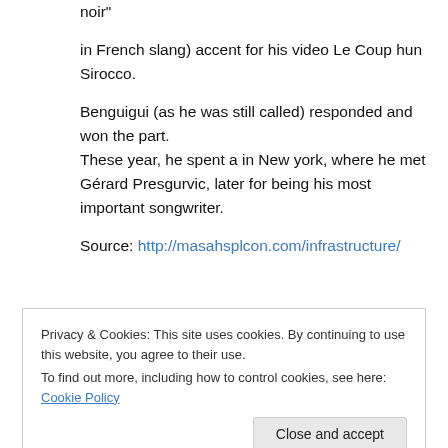noir"
in French slang) accent for his video Le Coup hun Sirocco.
Benguigui (as he was still called) responded and won the part.
These year, he spent a in New york, where he met Gérard Presgurvic, later for being his most important songwriter.
Source: http://masahsplcon.com/infrastructure/
Privacy & Cookies: This site uses cookies. By continuing to use this website, you agree to their use.
To find out more, including how to control cookies, see here: Cookie Policy
Close and accept
having my